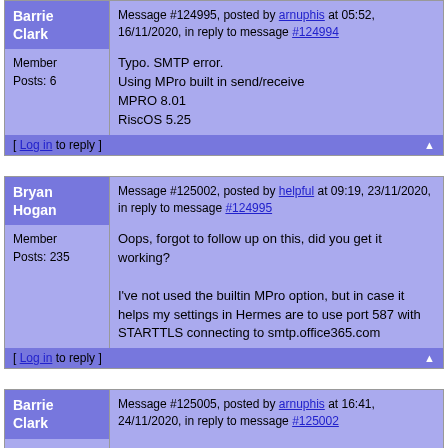Barrie Clark — Message #124995, posted by arnuphis at 05:52, 16/11/2020, in reply to message #124994
Member
Posts: 6
Typo. SMTP error.
Using MPro built in send/receive
MPRO 8.01
RiscOS 5.25
[ Log in to reply ]
Bryan Hogan — Message #125002, posted by helpful at 09:19, 23/11/2020, in reply to message #124995
Member
Posts: 235
Oops, forgot to follow up on this, did you get it working?

I've not used the builtin MPro option, but in case it helps my settings in Hermes are to use port 587 with STARTTLS connecting to smtp.office365.com
[ Log in to reply ]
Barrie Clark — Message #125005, posted by arnuphis at 16:41, 24/11/2020, in reply to message #125002
Member
Posts: 6
Hello,